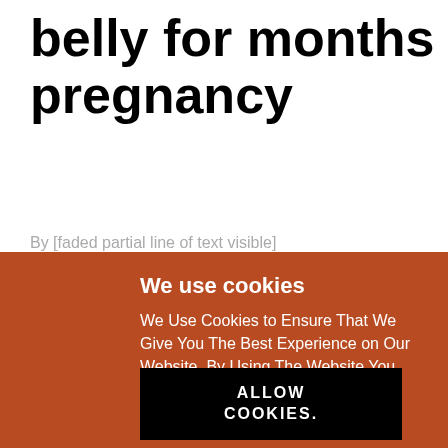belly for months pregnancy
By [faded partial text]
We use cookies
We Use Cookies to Ensure That We Give You The Best Experience on Our Website. By Using The Website You Agree to Our Use of Cookies.
ALLOW COOKIES.